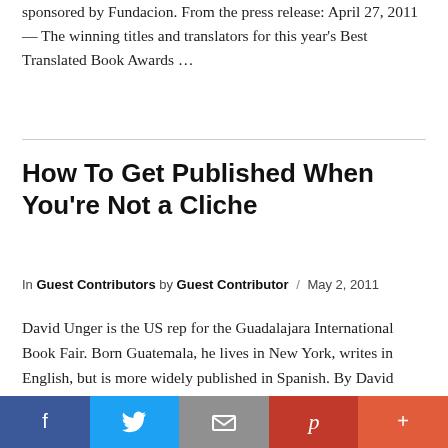sponsored by Fundacion. From the press release: April 27, 2011 — The winning titles and translators for this year's Best Translated Book Awards …
How To Get Published When You're Not a Cliche
In Guest Contributors by Guest Contributor / May 2, 2011
David Unger is the US rep for the Guadalajara International Book Fair. Born Guatemala, he lives in New York, writes in English, but is more widely published in Spanish. By David Unger NEW YORK CITY: I am the US rep for the Guadalajara International Book Fair so I know more than I
[Figure (infographic): Social sharing bar with Facebook (blue), Twitter (light blue), Email (grey), Pinterest (red), and More (orange-red) buttons]